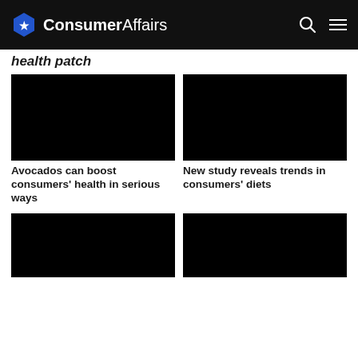ConsumerAffairs
health patch
[Figure (photo): Black image placeholder for article about avocados]
[Figure (photo): Black image placeholder for article about consumer diet trends]
Avocados can boost consumers' health in serious ways
New study reveals trends in consumers' diets
[Figure (photo): Black image placeholder bottom left]
[Figure (photo): Black image placeholder bottom right]